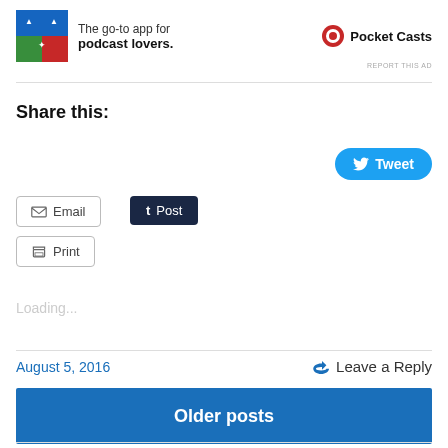[Figure (illustration): Advertisement banner for Pocket Casts podcast app with logo and text]
REPORT THIS AD
Share this:
[Figure (other): Tweet button (Twitter/X share button)]
[Figure (other): Email share button]
[Figure (other): Tumblr Post share button]
[Figure (other): Print button]
Loading...
August 5, 2016
Leave a Reply
Older posts